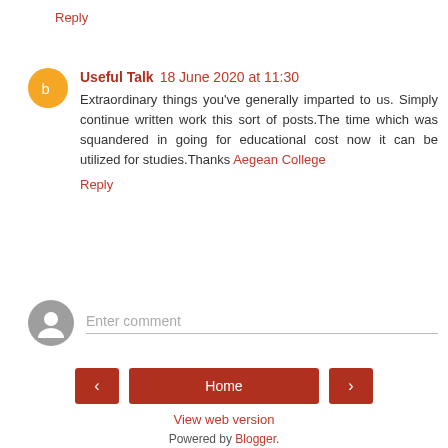Reply
Useful Talk 18 June 2020 at 11:30
Extraordinary things you've generally imparted to us. Simply continue written work this sort of posts.The time which was squandered in going for educational cost now it can be utilized for studies.Thanks Aegean College
Reply
Enter comment
Home
View web version
Powered by Blogger.